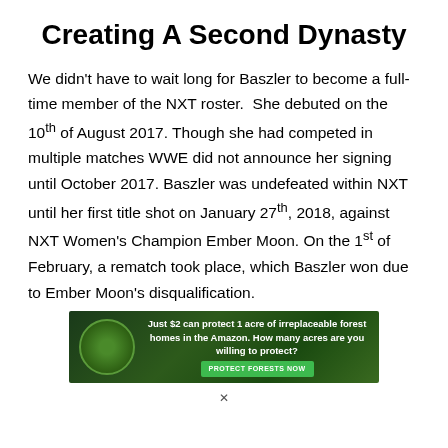Creating A Second Dynasty
We didn't have to wait long for Baszler to become a full-time member of the NXT roster. She debuted on the 10th of August 2017. Though she had competed in multiple matches WWE did not announce her signing until October 2017. Baszler was undefeated within NXT until her first title shot on January 27th, 2018, against NXT Women's Champion Ember Moon. On the 1st of February, a rematch took place, which Baszler won due to Ember Moon's disqualification.
[Figure (other): Advertisement banner: Just $2 can protect 1 acre of irreplaceable forest homes in the Amazon. How many acres are you willing to protect? PROTECT FORESTS NOW]